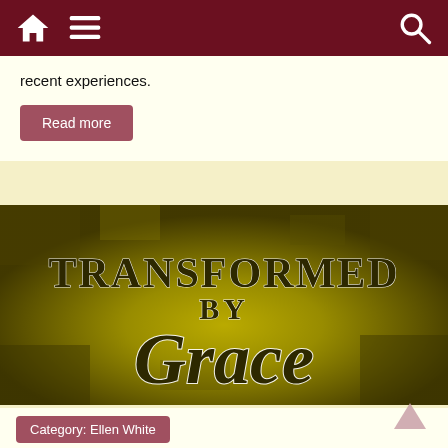Navigation bar with home, menu, and search icons
recent experiences.
Read more
[Figure (illustration): Gold/yellow textured background with dark olive-green bold text reading 'TRANSFORMED BY Grace' — TRANSFORMED and BY in serif caps, Grace in large cursive script, all with white outline/drop shadow.]
Category: Ellen White
Transformed by Grace